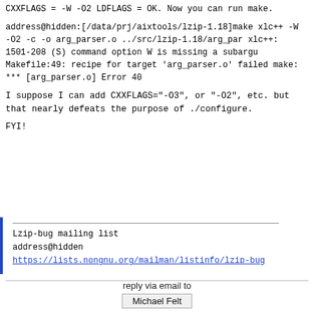CXXFLAGS = -W -O2
LDFLAGS =
OK. Now you can run make.
address@hidden:[/data/prj/aixtools/lzip-1.18]make
xlc++  -W -O2 -c -o arg_parser.o ../src/lzip-1.18/arg_par
xlc++: 1501-208 (S) command option W is missing a subargu
Makefile:49: recipe for target 'arg_parser.o' failed
make: *** [arg_parser.o] Error 40
I suppose I can add CXXFLAGS="-O3", or "-O2", etc. but
that nearly defeats the purpose of ./configure.
FYI!
Lzip-bug mailing list
address@hidden
https://lists.nongnu.org/mailman/listinfo/lzip-bug
reply via email to
Michael Felt